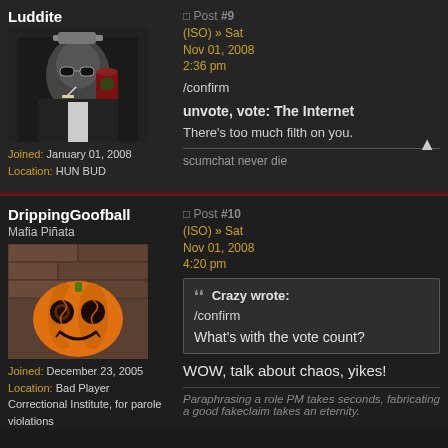Luddite
[Figure (photo): Black and white photo of a person wearing sunglasses with a Starbucks cup and hat overlaid]
Joined: January 01, 2008
Location: HUN BUD
Post #9 (ISO) » Sat Nov 01, 2008 2:36 pm
/confirm
unvote, vote: The Internet
There's too much filth on you.
scumchat never die
DrippingGoofball
Mafia Piñata
[Figure (photo): Orange carved pumpkin jack-o-lantern with circular eyes and a smile on a brick background]
Joined: December 23, 2005
Location: Bad Player Correctional Institute, for parole violations
Post #10 (ISO) » Sat Nov 01, 2008 4:20 pm
Crazy wrote:
/confirm
What's with the vote count?
WOW, talk about chaos, yikes!
Paraphrasing a role PM takes seconds, fabricating a good fakeclaim takes an eternity.